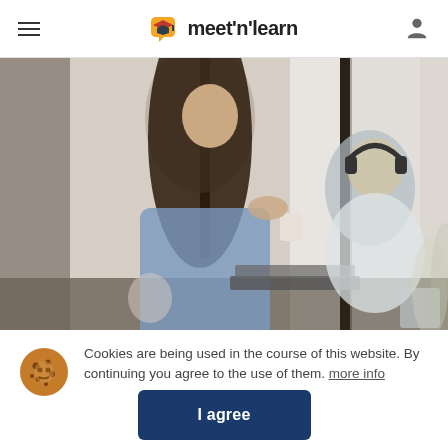meet'n'learn
[Figure (photo): Two people sitting at a table in a cafe/study area with laptops and cups; one woman standing with long dark hair in denim jacket holding a cup, another person sitting with headphones on, bright window light behind them.]
Cookies are being used in the course of this website. By continuing you agree to the use of them. more info
I agree